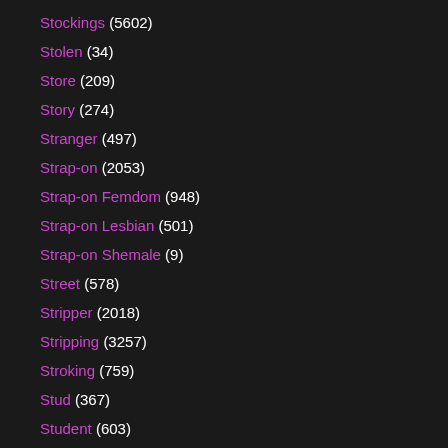Stockings (5602)
Stolen (34)
Store (209)
Story (274)
Stranger (497)
Strap-on (2053)
Strap-on Femdom (948)
Strap-on Lesbian (501)
Strap-on Shemale (9)
Street (578)
Stripper (2018)
Stripping (3257)
Stroking (759)
Stud (367)
Student (603)
Stunning (424)